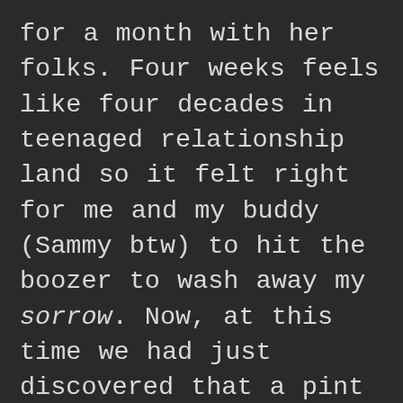for a month with her folks. Four weeks feels like four decades in teenaged relationship land so it felt right for me and my buddy (Sammy btw) to hit the boozer to wash away my sorrow. Now, at this time we had just discovered that a pint of Guinness with a shot of Tia Maria in it was utterly divine (it genuinely is)! Sammy ordered up one of those but this was a hot summers evening and I wanted a lager. Not wishing to miss out however I ordered